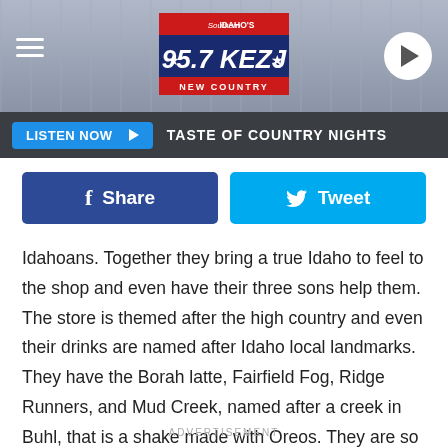[Figure (screenshot): Radio station header with 95.7 KEZJ Southern Idaho's New Country logo centered, hamburger menu icon on the left, play button on the right, against a gray background with structural elements.]
LISTEN NOW ▶   TASTE OF COUNTRY NIGHTS
f  Share
🐦  Tweet
Idahoans. Together they bring a true Idaho to feel to the shop and even have their three sons help them. The store is themed after the high country and even their drinks are named after Idaho local landmarks. They have the Borah latte, Fairfield Fog, Ridge Runners, and Mud Creek, named after a creek in Buhl, that is a shake made with Oreos. They are so dedicated to remaining local that they will have Dawson Taylor coffee and Clover Leaf Creamery milk.
ADVERTISEMENT